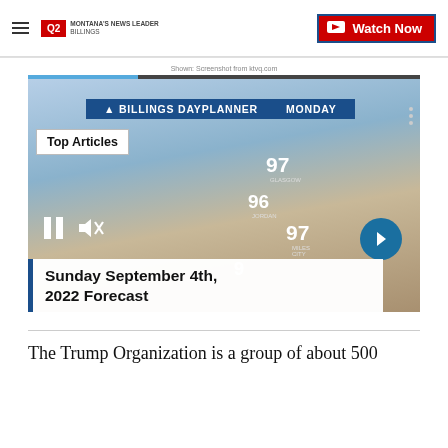Q2 Montana's News Leader | Watch Now
Shown: Screenshot from ktvq.com
[Figure (screenshot): Video player screenshot showing a weather broadcast with 'BILLINGS DAYPLANNER MONDAY' banner, a meteorologist and map with temperature values 97 (GLASGOW), 96 (JORDAN), 97 (MILES CITY), video controls (pause, mute), and a next arrow button. A 'Top Articles' badge overlays the video. Below the video frame, a title bar reads 'Sunday September 4th, 2022 Forecast'.]
Sunday September 4th, 2022 Forecast
The Trump Organization is a group of about 500